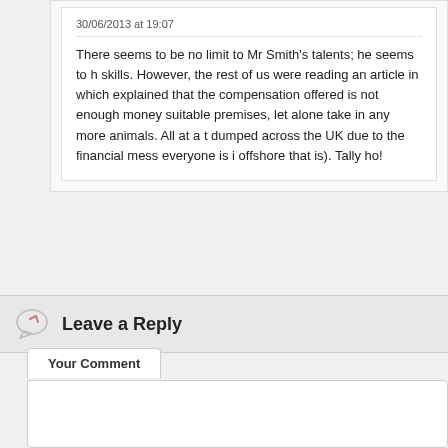30/06/2013 at 19:07
There seems to be no limit to Mr Smith's talents; he seems to h skills. However, the rest of us were reading an article in which explained that the compensation offered is not enough money suitable premises, let alone take in any more animals. All at a dumped across the UK due to the financial mess everyone is i offshore that is). Tally ho!
Leave a Reply
Your Comment